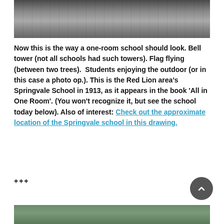[Figure (photo): Black and white historical photo showing students lined up outside a one-room school building with a bell tower, circa 1913 Springvale School]
Now this is the way a one-room school should look. Bell tower (not all schools had such towers). Flag flying (between two trees).  Students enjoying the outdoor (or in this case a photo op.). This is the Red Lion area’s Springvale School in 1913, as it appears in the book ‘All in One Room’. (You won’t recognize it, but see the school today below). Also of interest: Check out the approximate location of the Springvale school in this drawing.
+++
[Figure (photo): Color photo showing the Springvale school building as it appears today, partially visible at bottom of page]